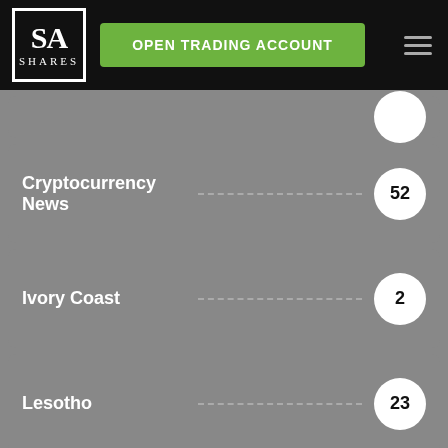[Figure (logo): SA Shares logo — black box with white serif text 'SA' over 'SHARES']
OPEN TRADING ACCOUNT
Cryptocurrency News  52
Ivory Coast  2
Lesotho  23